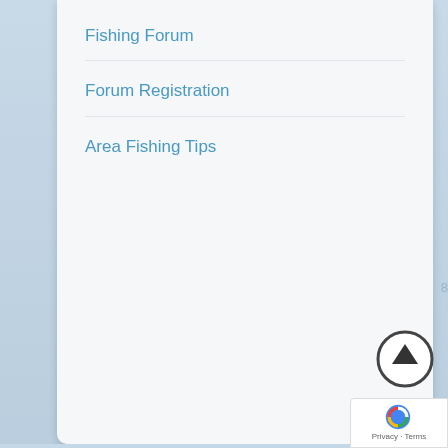Fishing Forum
Forum Registration
Area Fishing Tips
CHARTER BOAT LISTING
Captain Login
Charter Boat Listing Information
Saginaw Bay Area Charter Boats